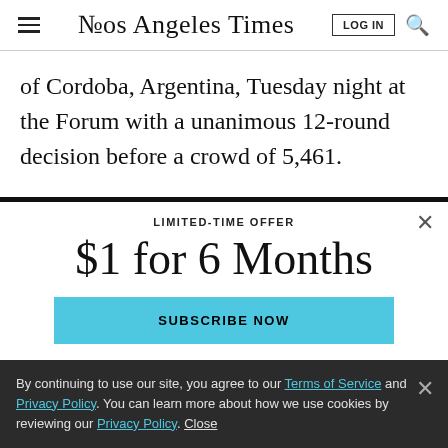Los Angeles Times
of Cordoba, Argentina, Tuesday night at the Forum with a unanimous 12-round decision before a crowd of 5,461.
LIMITED-TIME OFFER
$1 for 6 Months
SUBSCRIBE NOW
By continuing to use our site, you agree to our Terms of Service and Privacy Policy. You can learn more about how we use cookies by reviewing our Privacy Policy. Close